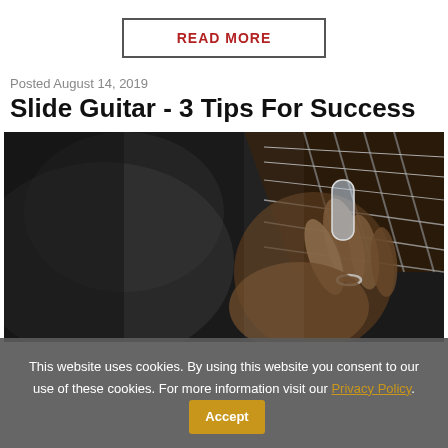READ MORE
Posted August 14, 2019
Slide Guitar - 3 Tips For Success
[Figure (photo): Black and white close-up photo of a hand playing slide guitar, with a glass slide on the finger pressing against the guitar strings and fretboard.]
This website uses cookies. By using this website you consent to our use of these cookies. For more information visit our Privacy Policy. Accept